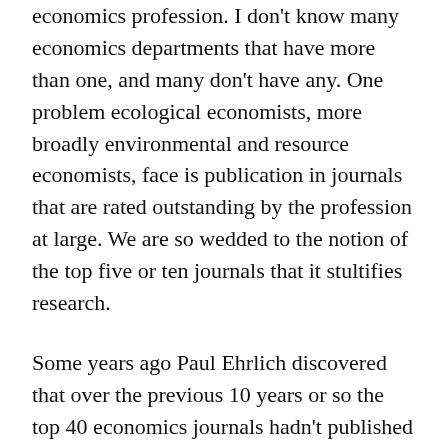economics profession. I don't know many economics departments that have more than one, and many don't have any. One problem ecological economists, more broadly environmental and resource economists, face is publication in journals that are rated outstanding by the profession at large. We are so wedded to the notion of the top five or ten journals that it stultifies research.
Some years ago Paul Ehrlich discovered that over the previous 10 years or so the top 40 economics journals hadn't published an article with a title in which the name of an environmental resource appeared (water, biodiversity, and so on). Our joint paper of 2013 on the nexus appeared in Science. It would have been insane to submit it to an economics journal. It would have been rejected unceremoniously.